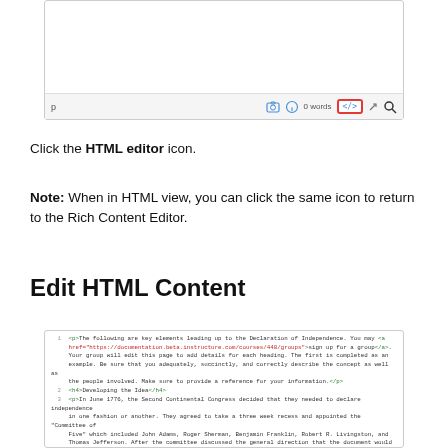[Figure (screenshot): Rich Content Editor toolbar screenshot showing 0 words label and HTML editor icon highlighted with red border]
Click the HTML editor icon.
Note: When in HTML view, you can click the same icon to return to the Rich Content Editor.
Edit HTML Content
[Figure (screenshot): HTML source code editor showing numbered lines of HTML content about the Declaration of Independence, with green HTML tags and red attribute values]